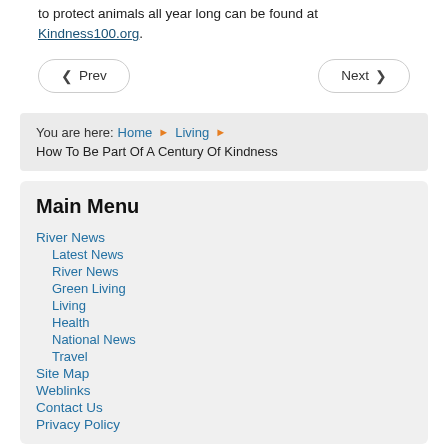to protect animals all year long can be found at Kindness100.org.
Prev   Next
You are here: Home ▶ Living ▶ How To Be Part Of A Century Of Kindness
Main Menu
River News
Latest News
River News
Green Living
Living
Health
National News
Travel
Site Map
Weblinks
Contact Us
Privacy Policy